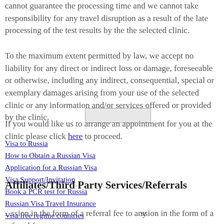cannot guarantee the processing time and we cannot take responsibility for any travel disruption as a result of the late processing of the test results by the the selected clinic.
To the maximum extent permitted by law, we accept no liability for any direct or indirect loss or damage, foreseeable or otherwise, including any indirect, consequential, special or exemplary damages arising from your use of the selected clinic or any information and/or services offered or provided by the clinic.
If you would like us to arrange an appointment for you at the clinic please click here to proceed.
Visa to Russia
How to Obtain a Russian Visa
Application for a Russian Visa
Visa Support/Invitation
Book a PCR test for Russia
Affiliates/Third Party Services/Referrals
Russian Visa Travel Insurance
...ssion in the form of a referral fee to any ...efer business to us, and by agreeing to these terms ...are acknowledging that we have disclosed
Visa free regime countries
Apply for a Visa
About Russian Visas